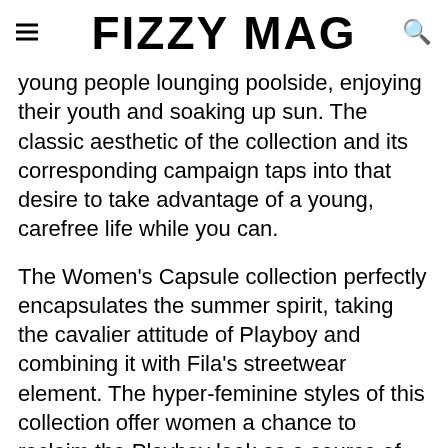FIZZY MAG
young people lounging poolside, enjoying their youth and soaking up sun. The classic aesthetic of the collection and its corresponding campaign taps into that desire to take advantage of a young, carefree life while you can.
The Women's Capsule collection perfectly encapsulates the summer spirit, taking the cavalier attitude of Playboy and combining it with Fila's streetwear element. The hyper-feminine styles of this collection offer women a chance to reclaim the Playboy look as a source of empowerment.
The 13-piece collection is now available on urbanoutfitters.com and playboy.com with the